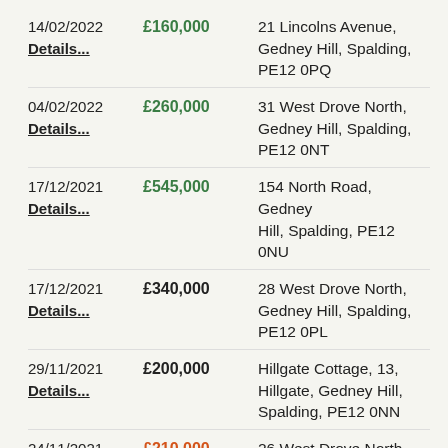| Date | Price | Address |
| --- | --- | --- |
| 14/02/2022 | £160,000 | 21 Lincolns Avenue, Gedney Hill, Spalding, PE12 0PQ |
| 04/02/2022 | £260,000 | 31 West Drove North, Gedney Hill, Spalding, PE12 0NT |
| 17/12/2021 | £545,000 | 154 North Road, Gedney Hill, Spalding, PE12 0NU |
| 17/12/2021 | £340,000 | 28 West Drove North, Gedney Hill, Spalding, PE12 0PL |
| 29/11/2021 | £200,000 | Hillgate Cottage, 13, Hillgate, Gedney Hill, Spalding, PE12 0NN |
| 24/11/2021 | £210,000 | 26 West Drove North, Gedney Hill, Spalding, |